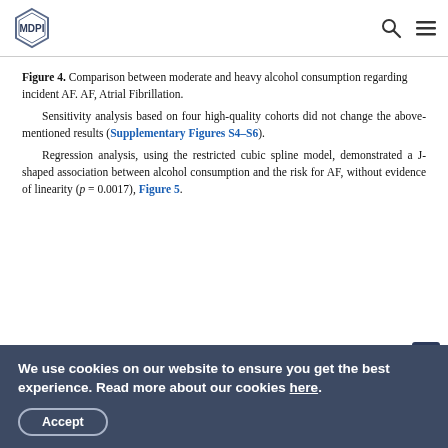MDPI
Figure 4. Comparison between moderate and heavy alcohol consumption regarding incident AF. AF, Atrial Fibrillation.
Sensitivity analysis based on four high-quality cohorts did not change the above-mentioned results (Supplementary Figures S4–S6).
Regression analysis, using the restricted cubic spline model, demonstrated a J-shaped association between alcohol consumption and the risk for AF, without evidence of linearity (p = 0.0017), Figure 5.
[Figure (other): Partially visible figure placeholder box with expand icon]
We use cookies on our website to ensure you get the best experience. Read more about our cookies here. Accept